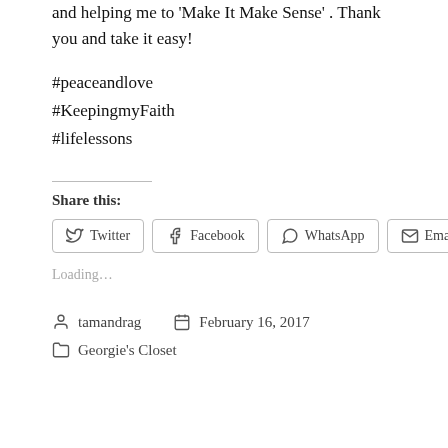and helping me to 'Make It Make Sense'. Thank you and take it easy!
#peaceandlove
#KeepingmyFaith
#lifelessons
Share this:
Twitter  Facebook  WhatsApp  Email
Loading…
tamandrag   February 16, 2017
Georgie's Closet